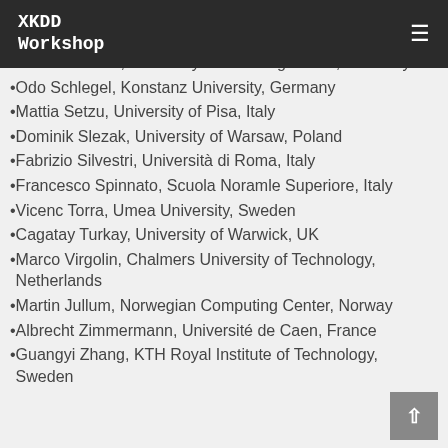XKDD Workshop
Christin Seifert, University of Duisburg-Essen, Germany
Odo Schlegel, Konstanz University, Germany
Mattia Setzu, University of Pisa, Italy
Dominik Slezak, University of Warsaw, Poland
Fabrizio Silvestri, Università di Roma, Italy
Francesco Spinnato, Scuola Noramle Superiore, Italy
Vicenc Torra, Umea University, Sweden
Cagatay Turkay, University of Warwick, UK
Marco Virgolin, Chalmers University of Technology, Netherlands
Martin Jullum, Norwegian Computing Center, Norway
Albrecht Zimmermann, Université de Caen, France
Guangyi Zhang, KTH Royal Institute of Technology, Sweden